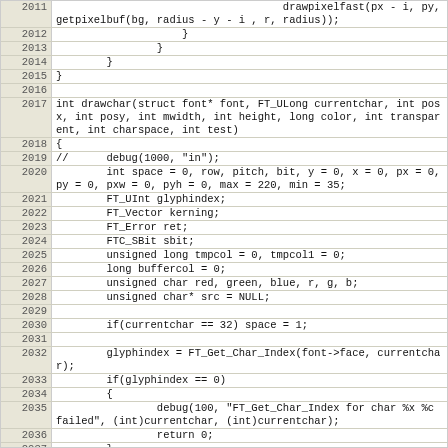[Figure (screenshot): Source code listing in C showing lines 2011-2037, including function drawchar with variable declarations and glyph index lookup logic.]